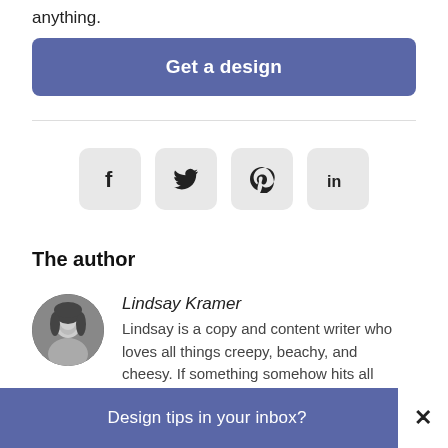anything.
Get a design
[Figure (other): Social media icon buttons: Facebook (f), Twitter (bird), Pinterest (p), LinkedIn (in) — grey rounded square buttons]
The author
[Figure (photo): Circular black and white portrait photo of Lindsay Kramer smiling]
Lindsay Kramer
Lindsay is a copy and content writer who loves all things creepy, beachy, and cheesy. If something somehow hits all
Design tips in your inbox?